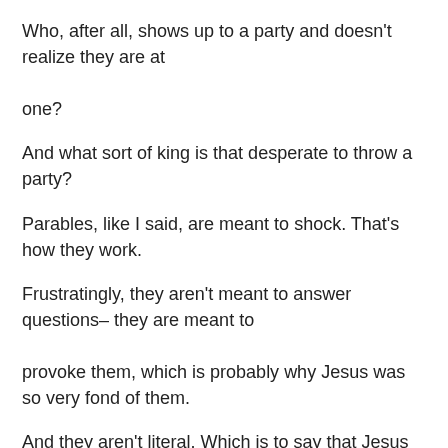Who, after all, shows up to a party and doesn't realize they are at one?
And what sort of king is that desperate to throw a party?
Parables, like I said, are meant to shock. That's how they work.
Frustratingly, they aren't meant to answer questions– they are meant to provoke them, which is probably why Jesus was so very fond of them.
And they aren't literal. Which is to say that Jesus wasn't recounting the tale